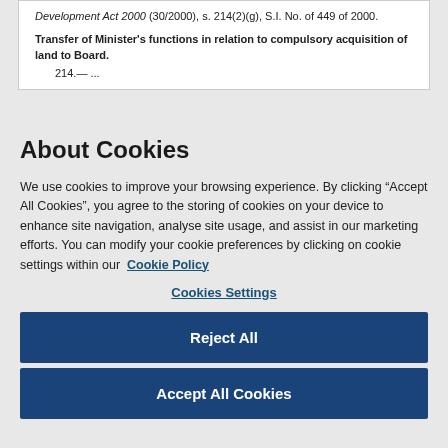Development Act 2000 (30/2000), s. 214(2)(g), S.I. No. of 449 of 2000.
Transfer of Minister's functions in relation to compulsory acquisition of land to Board.
214.— ...
About Cookies
We use cookies to improve your browsing experience. By clicking “Accept All Cookies”, you agree to the storing of cookies on your device to enhance site navigation, analyse site usage, and assist in our marketing efforts. You can modify your cookie preferences by clicking on cookie settings within our Cookie Policy
Cookies Settings
Reject All
Accept All Cookies